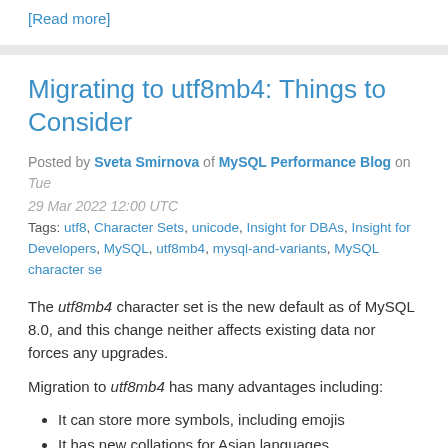[Read more]
Migrating to utf8mb4: Things to Consider
Posted by Sveta Smirnova of MySQL Performance Blog on Tue 29 Mar 2022 12:00 UTC
Tags: utf8, Character Sets, unicode, Insight for DBAs, Insight for Developers, MySQL, utf8mb4, mysql-and-variants, MySQL character se
The utf8mb4 character set is the new default as of MySQL 8.0, and this change neither affects existing data nor forces any upgrades.
Migration to utf8mb4 has many advantages including:
It can store more symbols, including emojis
It has new collations for Asian languages
It is faster than utf8mb3